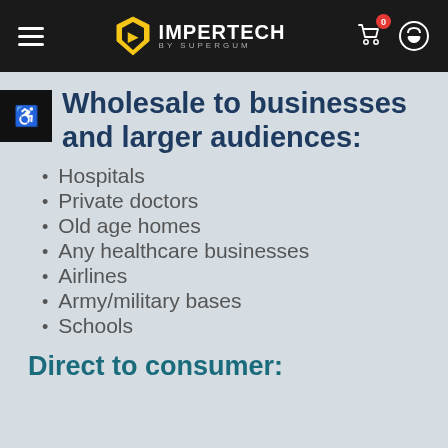IMPERTECH BY SUPERGUM — navigation header
Wholesale to businesses and larger audiences:
Hospitals
Private doctors
Old age homes
Any healthcare businesses
Airlines
Army/military bases
Schools
Direct to consumer: